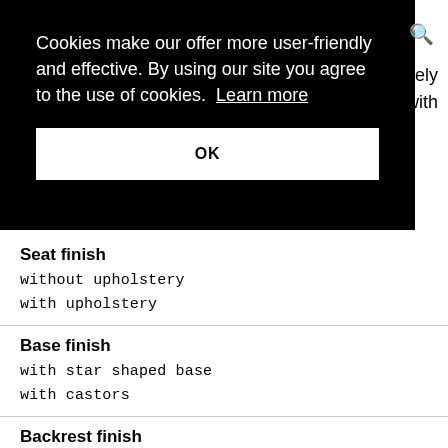Cookies make our offer more user-friendly and effective. By using our site you agree to the use of cookies. Learn more
OK
vely
with
Seat finish
without upholstery
with upholstery
Base finish
with star shaped base
with castors
Backrest finish